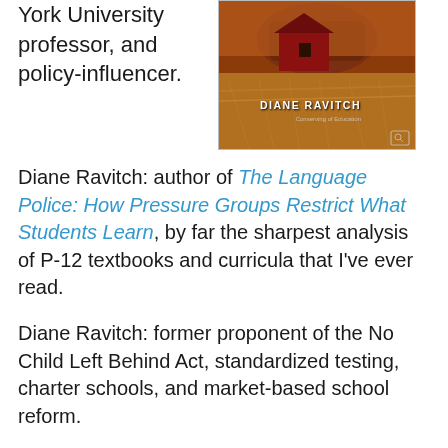York University professor, and policy-influencer.
[Figure (photo): Book cover of 'The Language Police' by Diane Ravitch, showing a red barn and golden prairie grass with the author name 'DIANE RAVITCH' on the cover.]
Diane Ravitch: author of The Language Police: How Pressure Groups Restrict What Students Learn, by far the sharpest analysis of P-12 textbooks and curricula that I've ever read.
Diane Ravitch: former proponent of the No Child Left Behind Act, standardized testing, charter schools, and market-based school reform.
Diane Ravitch: current critic of the No Child Left Behind Act, standardized